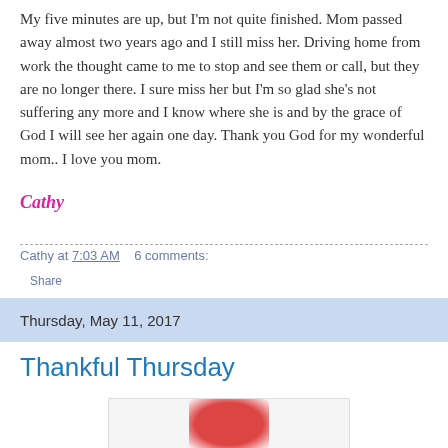My five minutes are up, but I'm not quite finished. Mom passed away almost two years ago and I still miss her. Driving home from work the thought came to me to stop and see them or call, but they are no longer there. I sure miss her but I'm so glad she's not suffering any more and I know where she is and by the grace of God I will see her again one day. Thank you God for my wonderful mom.. I love you mom.
Cathy
Cathy at 7:03 AM    6 comments:
Share
Thursday, May 11, 2017
Thankful Thursday
[Figure (photo): Partial image visible at bottom of page, appears to be a circular/oval red graphic element]